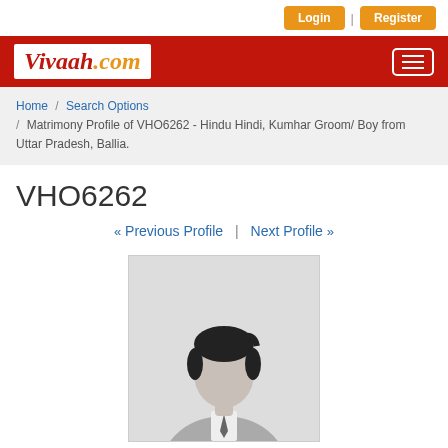Login | Register
Vivaah.com
Home / Search Options / Matrimony Profile of VHO6262 - Hindu Hindi, Kumhar Groom/ Boy from Uttar Pradesh, Ballia.
VHO6262
« Previous Profile | Next Profile »
[Figure (photo): Generic male silhouette placeholder profile photo]